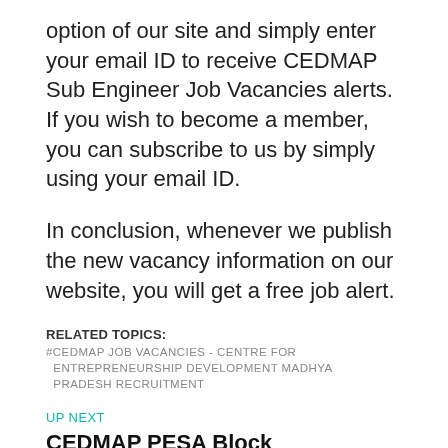option of our site and simply enter your email ID to receive CEDMAP Sub Engineer Job Vacancies alerts. If you wish to become a member, you can subscribe to us by simply using your email ID.
In conclusion, whenever we publish the new vacancy information on our website, you will get a free job alert.
RELATED TOPICS:
#CEDMAP JOB VACANCIES - CENTRE FOR ENTREPRENEURSHIP DEVELOPMENT MADHYA PRADESH RECRUITMENT
UP NEXT
CEDMAP PESA Block Coordinator Recruitment 2021 | 89 Vacancies | 30 November 2021
DON'T MISS